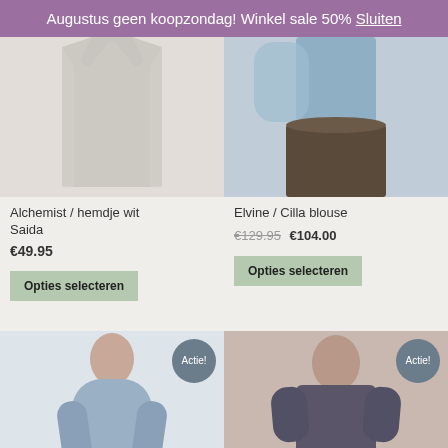Augustus geen koopzondag! Winkel sale 50% Sluiten
[Figure (photo): White tank top / sleeveless shirt on light grey background]
Alchemist / hemdje wit Saida
€49.95
[Figure (photo): Model wearing light blue blouse with dark brown skirt]
Elvine / Cilla blouse
€129.95 €104.00
[Figure (photo): Model wearing light blue dress with Actie! badge]
[Figure (photo): Model wearing dark grey t-shirt with Actie! badge]